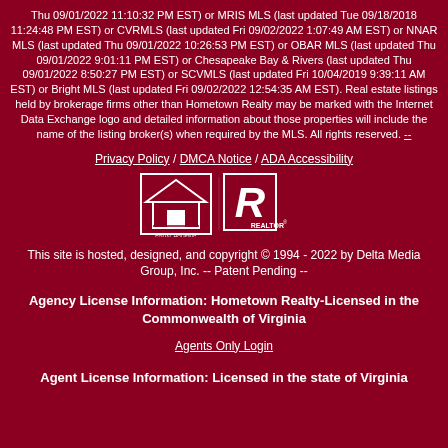Thu 09/01/2022 11:10:32 PM EST) or MRIS MLS (last updated Tue 09/18/2018 11:24:48 PM EST) or CVRMLS (last updated Fri 09/02/2022 1:07:49 AM EST) or NNAR MLS (last updated Thu 09/01/2022 10:26:53 PM EST) or OBAR MLS (last updated Thu 09/01/2022 9:01:11 PM EST) or Chesapeake Bay & Rivers (last updated Thu 09/01/2022 8:50:27 PM EST) or SCVMLS (last updated Fri 10/04/2019 9:39:11 AM EST) or Bright MLS (last updated Fri 09/02/2022 12:54:35 AM EST). Real estate listings held by brokerage firms other than Hometown Realty may be marked with the Internet Data Exchange logo and detailed information about those properties will include the name of the listing broker(s) when required by the MLS. All rights reserved. --
Privacy Policy / DMCA Notice / ADA Accessibility
[Figure (logo): Equal Housing Opportunity and REALTOR logos]
This site is hosted, designed, and copyright © 1994 - 2022 by Delta Media Group, Inc. -- Patent Pending --
Agency License Information: Hometown Realty-Licensed in the Commonwealth of Virginia
Agents Only Login
Agent License Information: Licensed in the state of Virginia